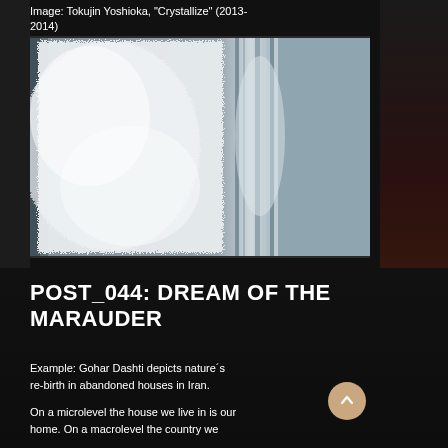Image: Tokujin Yoshioka, "Crystallize" (2013-2014)
[Figure (photo): Close-up photograph of white crystalline or feathery structures against a dark grey metallic background, resembling ice crystals or white fibers growing on a surface — artwork by Tokujin Yoshioka titled 'Crystallize' (2013-2014)]
POST_044: DREAM OF THE MARAUDER
Example: Gohar Dashti depicts nature's re-birth in abandoned houses in Iran.
On a microlevel the house we live in is our home. On a macrolevel the country we